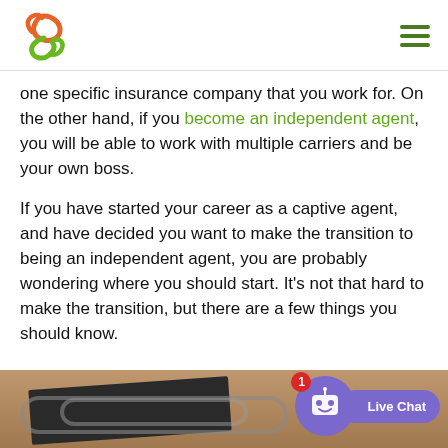one specific insurance company that you work for. On the other hand, if you become an independent agent, you will be able to work with multiple carriers and be your own boss.
If you have started your career as a captive agent, and have decided you want to make the transition to being an independent agent, you are probably wondering where you should start. It’s not that hard to make the transition, but there are a few things you should know.
Captive Agent
[Figure (photo): Bottom portion of page showing a photo of chains on a book/dark surface, with a live chat widget overlay featuring a purple robot icon and 'Live Chat' label]